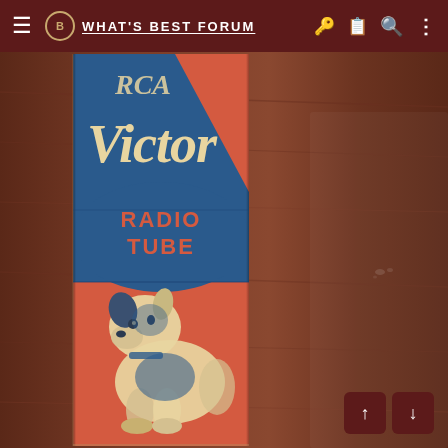WHAT'S BEST FORUM
[Figure (photo): Photograph of a vintage RCA Victor Radio Tube box lying on a wooden surface. The box features a blue and coral/red color scheme with the text 'Victor' in cream cursive script at the top, 'RADIO TUBE' in bold red letters on a blue background, and the iconic RCA Nipper dog illustration seated on a coral/red background in the lower portion of the box.]